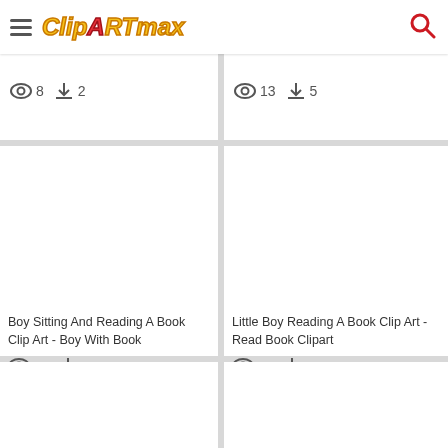ClipartMax
8 views, 2 downloads
13 views, 5 downloads
[Figure (illustration): Boy Sitting And Reading A Book Clip Art - Boy With Book (blank image placeholder)]
Boy Sitting And Reading A Book Clip Art - Boy With Book
14 views, 5 downloads
[Figure (illustration): Little Boy Reading A Book Clip Art - Read Book Clipart (blank image placeholder)]
Little Boy Reading A Book Clip Art - Read Book Clipart
16 views, 8 downloads
[Figure (illustration): Bottom left clipart (blank image placeholder)]
[Figure (illustration): Bottom right clipart (blank image placeholder)]